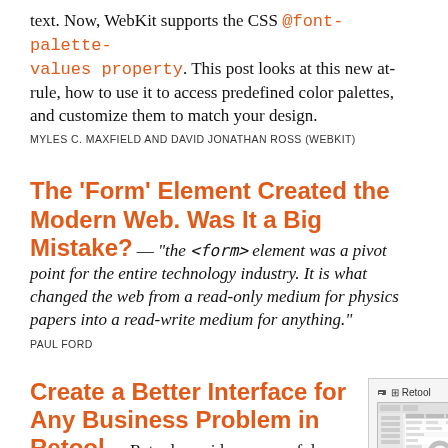text. Now, WebKit supports the CSS @font-palette-values property. This post looks at this new at-rule, how to use it to access predefined color palettes, and customize them to match your design.
MYLES C. MAXFIELD AND DAVID JONATHAN ROSS (WEBKIT)
The 'Form' Element Created the Modern Web. Was It a Big Mistake?
— "the <form> element was a pivot point for the entire technology industry. It is what changed the web from a read-only medium for physics papers into a read-write medium for anything."
PAUL FORD
Create a Better Interface for Any Business Problem in Retool
— Retool provides a powerful platform to build your UI, connect your data, and publish your app 10x faster. Skip the boilerplate
[Figure (screenshot): Screenshot of Retool interface showing a data table/form builder UI with a Retool logo header and caption 'Build internal tools, remarkably fast.']